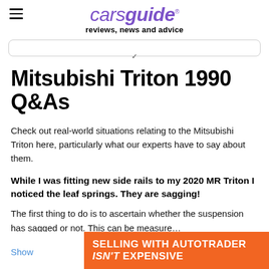carsguide reviews, news and advice
Mitsubishi Triton 1990 Q&As
Check out real-world situations relating to the Mitsubishi Triton here, particularly what our experts have to say about them.
While I was fitting new side rails to my 2020 MR Triton I noticed the leaf springs. They are sagging!
The first thing to do is to ascertain whether the suspension has sagged or not. This can be measure...
Show
[Figure (other): Orange advertisement banner: SELLING WITH AUTOTRADER ISN'T EXPENSIVE]